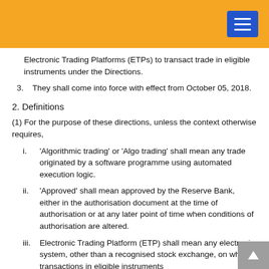Electronic Trading Platforms (ETPs) to transact trade in eligible instruments under the Directions.
3. They shall come into force with effect from October 05, 2018.
2. Definitions
(1) For the purpose of these directions, unless the context otherwise requires,
i. 'Algorithmic trading' or 'Algo trading' shall mean any trade originated by a software programme using automated execution logic.
ii. 'Approved' shall mean approved by the Reserve Bank, either in the authorisation document at the time of authorisation or at any later point of time when conditions of authorisation are altered.
iii. Electronic Trading Platform (ETP) shall mean any electronic system, other than a recognised stock exchange, on which transactions in eligible instruments